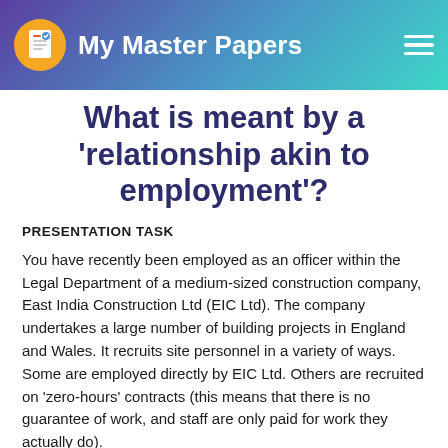My Master Papers
What is meant by a 'relationship akin to employment'?
PRESENTATION TASK
You have recently been employed as an officer within the Legal Department of a medium-sized construction company, East India Construction Ltd (EIC Ltd). The company undertakes a large number of building projects in England and Wales. It recruits site personnel in a variety of ways. Some are employed directly by EIC Ltd. Others are recruited on 'zero-hours' contracts (this means that there is no guarantee of work, and staff are only paid for work they actually do).
Two incidents have occurred within the organisation during